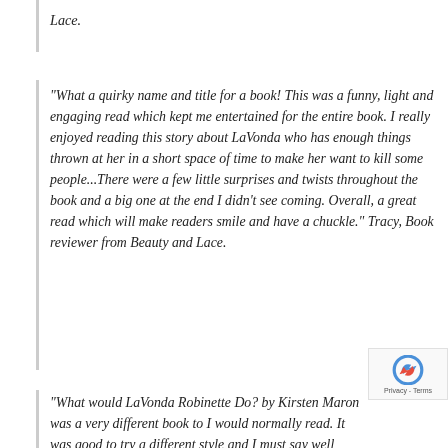Lace.
"What a quirky name and title for a book! This was a funny, light and engaging read which kept me entertained for the entire book. I really enjoyed reading this story about LaVonda who has enough things thrown at her in a short space of time to make her want to kill some people...There were a few little surprises and twists throughout the book and a big one at the end I didn't see coming. Overall, a great read which will make readers smile and have a chuckle." Tracy, Book reviewer from Beauty and Lace.
"What would LaVonda Robinette Do? by Kirsten Maron was a very different book to I would normally read. It was good to try a different style and I must say well worth the read...I would never have thought that the dreaded menopause and murder would work so well together books story line. With a complete twist that you need to